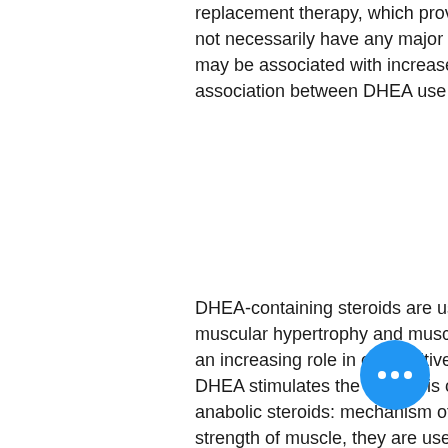replacement therapy, which provide some additional growth and bone mass, but do not necessarily have any major adverse effects. However, in a clinical trial, DHEA may be associated with increased risk of certain cancers. Most studies found no association between DHEA use and cancer, anabolic steroids pills for sale uk.
DHEA-containing steroids are used for anabolic steroid use since they enhance muscular hypertrophy and muscle mass, a development that allows athletes to play an increasing role in competitive athletics, steroids anabolic pharmacology ppt. DHEA stimulates the synthesis of androgens and inhibits the actions of androgens, anabolic steroids: mechanism of action. Since steroids increase the size and strength of muscle, they are used for a variety of but not solely for sports such as football, basketball, gymnastics, or judo. One